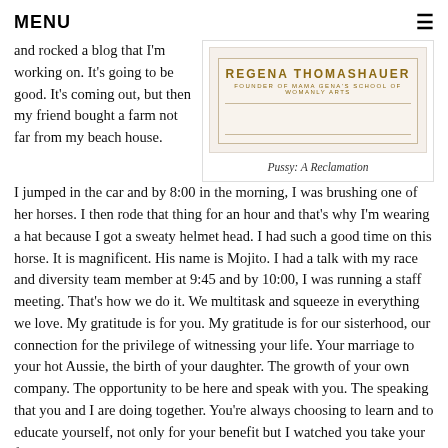MENU ≡
and rocked a blog that I'm working on. It's going to be good. It's coming out, but then my friend bought a farm not far from my beach house.
[Figure (photo): Book cover for 'Pussy: A Reclamation' by Regena Thomashauer, Founder of Mama Gena's School of Womanly Arts]
Pussy: A Reclamation
I jumped in the car and by 8:00 in the morning, I was brushing one of her horses. I then rode that thing for an hour and that's why I'm wearing a hat because I got a sweaty helmet head. I had such a good time on this horse. It is magnificent. His name is Mojito. I had a talk with my race and diversity team member at 9:45 and by 10:00, I was running a staff meeting. That's how we do it. We multitask and squeeze in everything we love. My gratitude is for you. My gratitude is for our sisterhood, our connection for the privilege of witnessing your life. Your marriage to your hot Aussie, the birth of your daughter. The growth of your own company. The opportunity to be here and speak with you. The speaking that you and I are doing together. You're always choosing to learn and to educate yourself, not only for your benefit but I watched you take your family higher